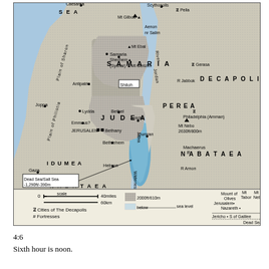[Figure (map): Map of ancient Palestine/Holy Land showing regions of Samaria, Judea, Perea, Decapolis, Nabataea, Idumea. Shows cities including Jerusalem, Bethlehem, Jericho, Samaria, Joppa, Gaza, Hebron, and others. Includes the Dead Sea (Dead Sea/Salt Sea -1,290ft/-390m), Jordan River, and various mountain peaks. Legend shows scale (0-40miles, 0-60km), symbols for Cities of The Decapolis and Fortresses, elevation key (2000ft/610m and below sea level), and a heights comparison chart showing Mt Hermon, Mount of Olives, Mt Tabor, Mt Nebo, Jerusalem, Nazareth, Jericho, S of Galilee, Dead Sea.]
4:6
Sixth hour is noon.